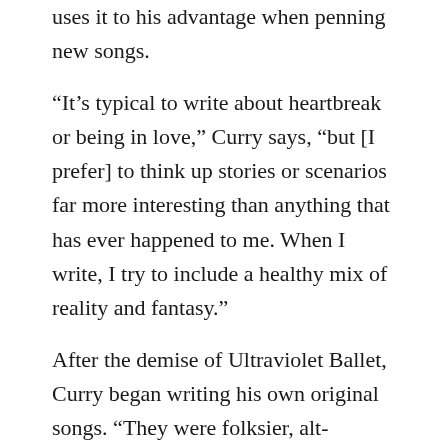uses it to his advantage when penning new songs.
“It’s typical to write about heartbreak or being in love,” Curry says, “but [I prefer] to think up stories or scenarios far more interesting than anything that has ever happened to me. When I write, I try to include a healthy mix of reality and fantasy.”
After the demise of Ultraviolet Ballet, Curry began writing his own original songs. “They were folksier, alt-country, singer/songwriter type tunes. I had written some songs in the past